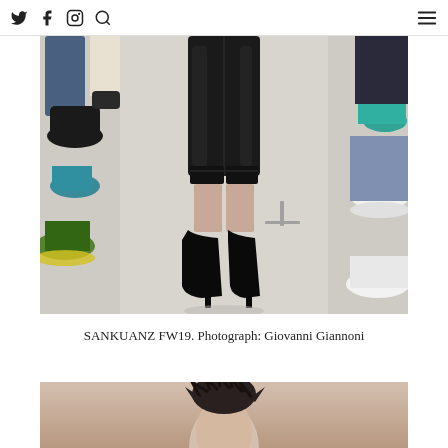Social media icons and menu
[Figure (photo): Fashion runway photo showing a model from the waist down wearing black leather cropped trousers and black pointed heels, walking on a light concrete floor with seated audience on both sides in colorful shoes and clothing]
SANKUANZ FW19. Photograph: Giovanni Giannoni
[Figure (photo): Partial view of a second fashion photo showing a person's head with short dark spiky hair against a muted pink/beige background]